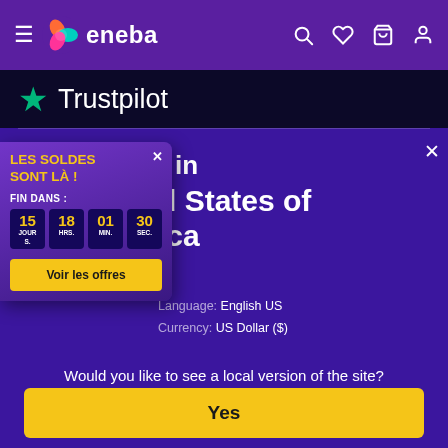[Figure (screenshot): Eneba website navigation bar with hamburger menu, Eneba logo (colorful flame icon), and right-side icons for search, wishlist, cart, and account on purple background]
[Figure (logo): Trustpilot logo: green star followed by 'Trustpilot' text in white on dark navy background]
[Figure (screenshot): Popup overlay showing 'LES SOLDES SONT LÀ !' sales promotion with countdown timer showing 15 JOURS, 18 HRS., 01 MIN., 30 SEC. and a yellow 'Voir les offres' button]
e in
d States of ica
Language: English US
Currency: US Dollar ($)
Would you like to see a local version of the site?
Yes